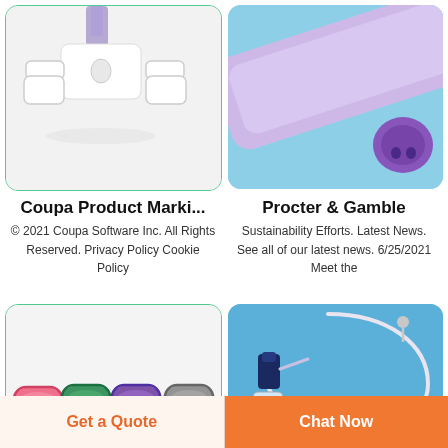[Figure (photo): White plastic medical connector/clip device on white background with purple tubing]
[Figure (photo): Purple medical syringe or tube connector end on blue background]
Coupa Product Marki...
© 2021 Coupa Software Inc. All Rights Reserved. Privacy Policy Cookie Policy
Procter & Gamble
Sustainability Efforts. Latest News. See all of our latest news. 6/25/2021 Meet the
[Figure (photo): Four colorful silicone bite/dental guards in red, green, purple, and gray on white background]
[Figure (photo): Medical IV infusion set with tubing, connectors, and needle on blue background]
Get a Quote
Chat Now